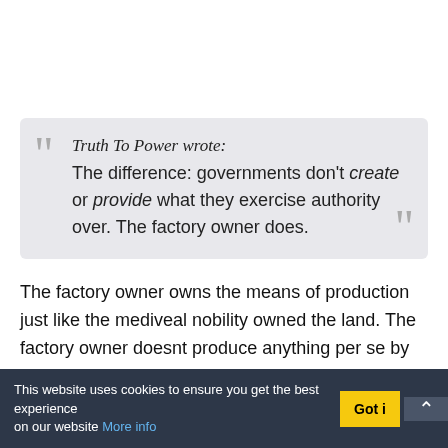Truth To Power wrote: The difference: governments don't create or provide what they exercise authority over. The factory owner does.
The factory owner owns the means of production just like the mediveal nobility owned the land. The factory owner doesnt produce anything per se by themselves at all. It is the workers who do the work.
It of course depends upon the actual person. Some factory owners are actual inventors etc. But others are just shareholders. They've never seen the factory, let alone have any clue about the people there, or know what work at the factory is...
This website uses cookies to ensure you get the best experience on our website More info  Got it